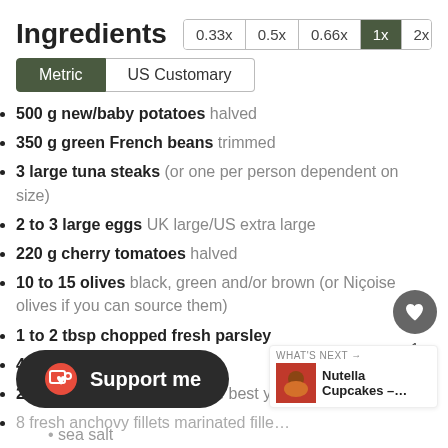Ingredients
500 g new/baby potatoes halved
350 g green French beans trimmed
3 large tuna steaks (or one per person dependent on size)
2 to 3 large eggs UK large/US extra large
220 g cherry tomatoes halved
10 to 15 olives black, green and/or brown (or Niçoise olives if you can source them)
1 to 2 tbsp chopped fresh parsley
4 tbsp extra virgin olive oil
2 tbsp balsamic vinegar the best you can afford
8 fresh anchovy fillets marinated fille...
sea salt